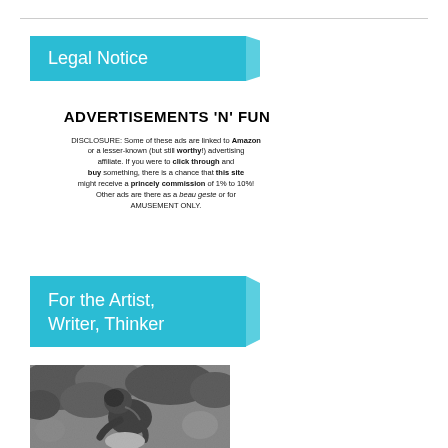Legal Notice
ADVERTISEMENTS 'N' FUN
DISCLOSURE: Some of these ads are linked to Amazon or a lesser-known (but still worthy!) advertising affiliate. If you were to click through and buy something, there is a chance that this site might receive a princely commission of 1% to 10%! Other ads are there as a beau geste or for AMUSEMENT ONLY.
For the Artist, Writer, Thinker
[Figure (photo): Black and white photograph of a person (possibly a sculptor or thinker) hunched over, working on or contemplating something, with foliage in the background.]